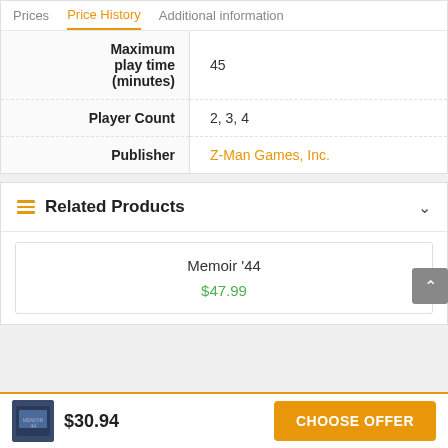Prices | Price History | Additional information
|  |  |
| --- | --- |
| Maximum play time (minutes) | 45 |
| Player Count | 2, 3, 4 |
| Publisher | Z-Man Games, Inc. |
Related Products
Memoir '44
$47.99
$30.94
CHOOSE OFFER